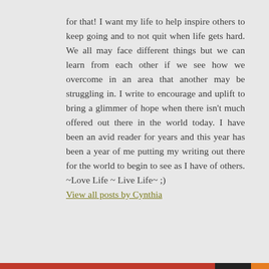for that! I want my life to help inspire others to keep going and to not quit when life gets hard. We all may face different things but we can learn from each other if we see how we overcome in an area that another may be struggling in. I write to encourage and uplift to bring a glimmer of hope when there isn't much offered out there in the world today. I have been an avid reader for years and this year has been a year of me putting my writing out there for the world to begin to see as I have of others. ~Love Life ~ Live Life~ ;)
View all posts by Cynthia
Privacy & Cookies: This site uses cookies. By continuing to use this website, you agree to their use.
To find out more, including how to control cookies, see here: Cookie Policy
Close and accept